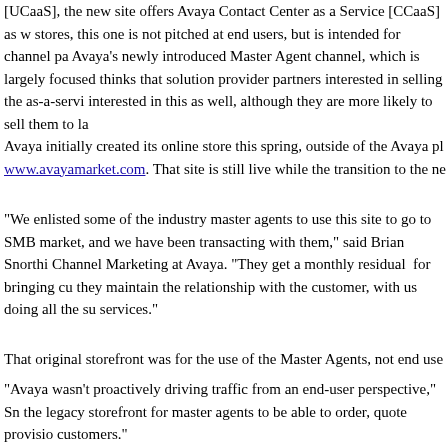[UCaaS], the new site offers Avaya Contact Center as a Service [CCaaS] as w stores, this one is not pitched at end users, but is intended for channel pa Avaya's newly introduced Master Agent channel, which is largely focused thinks that solution provider partners interested in selling the as-a-servi interested in this as well, although they are more likely to sell them to la
Avaya initially created its online store this spring, outside of the Avaya pl www.avayamarket.com. That site is still live while the transition to the ne
"We enlisted some of the industry master agents to use this site to go to SMB market, and we have been transacting with them," said Brian Snorthi Channel Marketing at Avaya. "They get a monthly residual for bringing cu they maintain the relationship with the customer, with us doing all the su services."
That original storefront was for the use of the Master Agents, not end use
"Avaya wasn't proactively driving traffic from an end-user perspective," Sn the legacy storefront for master agents to be able to order, quote provisio customers."